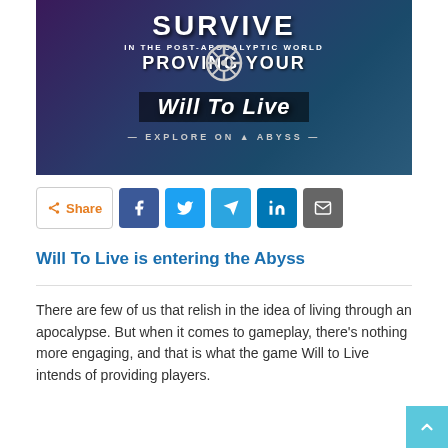[Figure (illustration): Game promotional banner for 'Will To Live' showing post-apocalyptic artwork with text: SURVIVE IN THE POST-APOCALYPTIC WORLD, PROVING YOUR, Will To Live, EXPLORE ON ABYSS]
[Figure (infographic): Social share buttons row: Share button (orange), Facebook (dark blue), Twitter (light blue), Telegram (blue), LinkedIn (dark blue), Email (grey)]
Will To Live is entering the Abyss
There are few of us that relish in the idea of living through an apocalypse. But when it comes to gameplay, there's nothing more engaging, and that is what the game Will to Live intends of providing players.